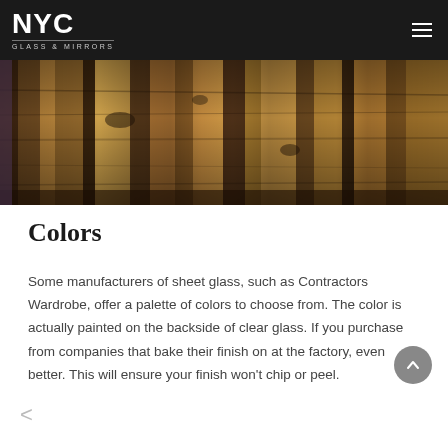NYC GLASS & MIRRORS
[Figure (photo): Close-up photo of a wooden table top surface with dark walnut wood grain pattern, showing planks and rounded edge]
Colors
Some manufacturers of sheet glass, such as Contractors Wardrobe, offer a palette of colors to choose from. The color is actually painted on the backside of clear glass. If you purchase from companies that bake their finish on at the factory, even better. This will ensure your finish won't chip or peel.